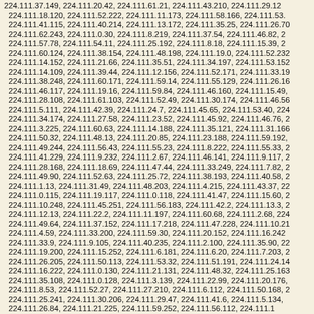224.111.37.149, 224.111.20.42, 224.111.61.21, 224.111.43.210, 224.111.29.123, 224.111.18.120, 224.111.52.222, 224.111.11.173, 224.111.58.166, 224.111.53., 224.111.41.115, 224.111.40.214, 224.111.13.172, 224.111.35.25, 224.111.26.70, 224.111.62.243, 224.111.0.30, 224.111.8.219, 224.111.37.54, 224.111.46.82, 2, 224.111.57.78, 224.111.54.11, 224.111.25.192, 224.111.8.18, 224.111.15.39, 2, 224.111.60.124, 224.111.38.154, 224.111.48.198, 224.111.19.0, 224.111.52.232, 224.111.14.152, 224.111.21.66, 224.111.35.51, 224.111.34.197, 224.111.53.152, 224.111.14.109, 224.111.39.44, 224.111.12.156, 224.111.52.171, 224.111.33.19, 224.111.38.248, 224.111.60.171, 224.111.59.14, 224.111.55.129, 224.111.26.16, 224.111.46.117, 224.111.19.16, 224.111.59.84, 224.111.46.160, 224.111.15.49, 224.111.28.108, 224.111.61.103, 224.111.52.49, 224.111.30.174, 224.111.46.56, 224.111.5.111, 224.111.42.39, 224.111.24.7, 224.111.45.65, 224.111.53.40, 224., 224.111.34.174, 224.111.27.58, 224.111.23.52, 224.111.45.92, 224.111.46.76, 2, 224.111.3.225, 224.111.60.63, 224.111.14.188, 224.111.35.121, 224.111.31.166, 224.111.50.32, 224.111.48.13, 224.111.20.85, 224.111.23.188, 224.111.59.192, 224.111.49.244, 224.111.56.43, 224.111.55.23, 224.111.8.222, 224.111.55.33, 2, 224.111.41.229, 224.111.9.232, 224.111.2.67, 224.111.46.141, 224.111.9.117, 2, 224.111.28.168, 224.111.18.69, 224.111.47.44, 224.111.33.249, 224.111.7.82, 2, 224.111.49.90, 224.111.52.63, 224.111.25.72, 224.111.38.193, 224.111.40.58, 2, 224.111.1.13, 224.111.31.49, 224.111.48.203, 224.111.4.215, 224.111.43.37, 22, 224.111.0.115, 224.111.19.117, 224.111.0.118, 224.111.41.47, 224.111.15.60, 2, 224.111.10.248, 224.111.45.251, 224.111.56.183, 224.111.42.2, 224.111.13.3, 2, 224.111.12.13, 224.111.22.2, 224.111.11.197, 224.111.60.68, 224.111.2.68, 224., 224.111.49.64, 224.111.37.152, 224.111.17.218, 224.111.47.228, 224.111.10.21, 224.111.4.59, 224.111.33.200, 224.111.59.30, 224.111.20.152, 224.111.16.242, 224.111.33.9, 224.111.9.105, 224.111.40.235, 224.111.2.100, 224.111.35.90, 22, 224.111.19.200, 224.111.15.252, 224.111.6.181, 224.111.6.20, 224.111.7.203, 2, 224.111.26.205, 224.111.50.113, 224.111.53.32, 224.111.51.191, 224.111.24.14, 224.111.16.222, 224.111.0.130, 224.111.21.131, 224.111.48.32, 224.111.25.163, 224.111.35.108, 224.111.0.128, 224.111.3.139, 224.111.22.99, 224.111.20.176, 224.111.8.53, 224.111.52.27, 224.111.27.210, 224.111.6.112, 224.111.50.168, 2, 224.111.25.241, 224.111.30.206, 224.111.29.47, 224.111.41.6, 224.111.5.134, 224.111.26.84, 224.111.21.225, 224.111.59.252, 224.111.56.112, 224.111.1